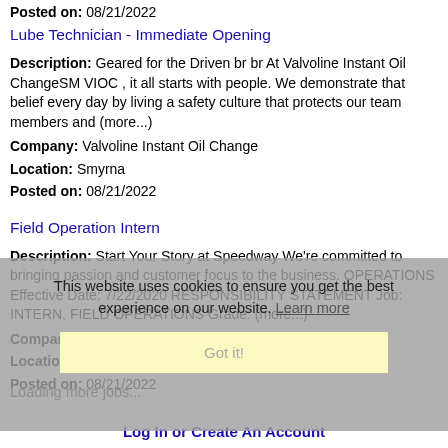Posted on: 08/21/2022
Lube Technician - Immediate Opening
Description: Geared for the Driven br br At Valvoline Instant Oil ChangeSM VIOC , it all starts with people. We demonstrate that belief every day by living a safety culture that protects our team members and (more...)
Company: Valvoline Instant Oil Change
Location: Smyrna
Posted on: 08/21/2022
Field Operation Intern
Description: Start Your Story at Speedway We're committed to bringing passion and customer focus to the business. OPERATIONS Effective Date: 7/22/2020 RESPONSIBILITY STATEMENT Job: INTERN, FIELD OPERATIONS Grade: (more...)
Company: 7-Eleven
Location: Smyrna
Posted on: 08/21/2022
This website uses cookies to ensure you get the best experience on our website. Learn more
Got it!
Loading more jobs...
Log In or Create An Account